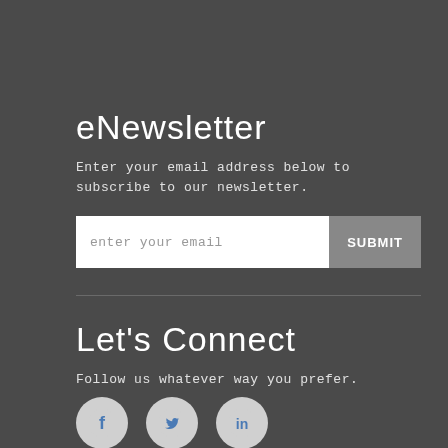eNewsletter
Enter your email address below to subscribe to our newsletter.
[Figure (other): Email input field with placeholder 'enter your email' and a grey SUBMIT button]
Let's Connect
Follow us whatever way you prefer.
[Figure (other): Three circular social media icons: Facebook, Twitter, LinkedIn]